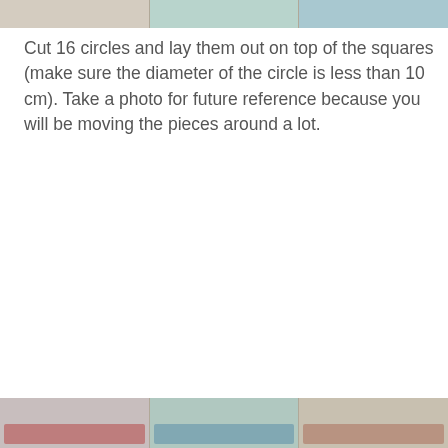[Figure (photo): Top portion of a photo showing fabric squares laid out, partially cropped at top of page. Three panel segments visible in beige/teal tones.]
Cut 16 circles and lay them out on top of the squares (make sure the diameter of the circle is less than 10 cm). Take a photo for future reference because you will be moving the pieces around a lot.
[Figure (photo): Bottom portion of a photo showing fabric pieces with red and blue patterned fabric, partially cropped at bottom of page. Three panel segments visible.]